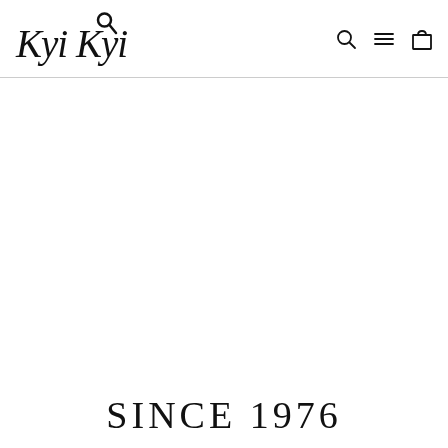[Figure (logo): Kyi Kyi brand logo in handwritten/script style with a magnifying glass icon above the second 'i']
[Figure (other): Navigation icons: search (magnifying glass), hamburger menu (three lines), shopping bag/cart]
SINCE 1976